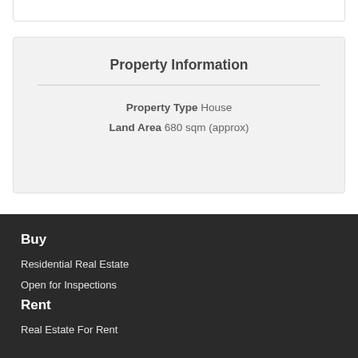Property Information
Property Type House
Land Area 680 sqm (approx)
Buy
Residential Real Estate
Open for Inspections
Rent
Real Estate For Rent